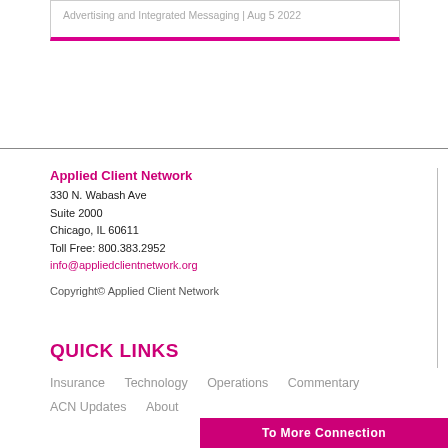Advertising and Integrated Messaging | Aug 5 2022
Applied Client Network
330 N. Wabash Ave
Suite 2000
Chicago, IL 60611
Toll Free: 800.383.2952
info@appliedclientnetwork.org
Copyright© Applied Client Network
QUICK LINKS
Insurance
Technology
Operations
Commentary
ACN Updates
About